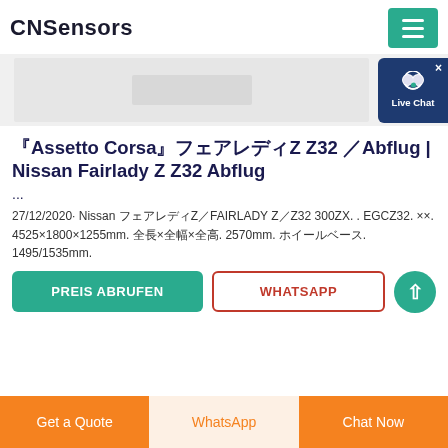CNSensors
[Figure (screenshot): Product image placeholder area with light gray background, partial view of a product]
『Assetto Corsa』フェアレディZ Z32 ／Abflug | Nissan Fairlady Z Z32 Abflug
...
27/12/2020· Nissan フェアレディZ／FAIRLADY Z／Z32 300ZX. . EGCZ32. ××. 4525×1800×1255mm. 全長×全幅×全高. 2570mm. ホイールベース. 1495/1535mm.
PREIS ABRUFEN   WHATSAPP
Get a Quote   WhatsApp   Chat Now